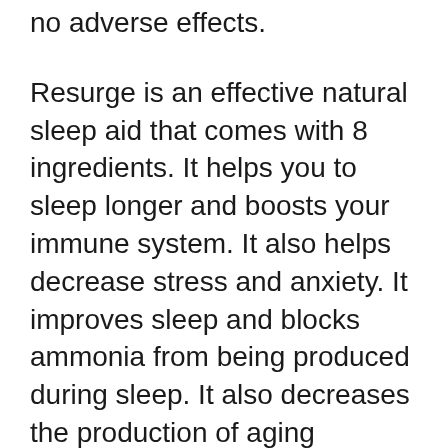no adverse effects.
Resurge is an effective natural sleep aid that comes with 8 ingredients. It helps you to sleep longer and boosts your immune system. It also helps decrease stress and anxiety. It improves sleep and blocks ammonia from being produced during sleep. It also decreases the production of aging hormones when you’re asleep. It is a great supplement for those who don’t get seven to eight hours of sleep each night.
Resurge is also a fantastic supplement for people who aren’t looking to be on the diet or adhere to an exact regimen. It is based on the natural psychology of sleep by increasing your energy levels and assisting you fall